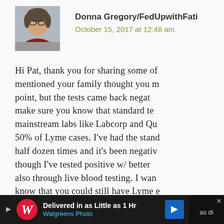[Figure (photo): Profile photo of a woman with glasses, dark hair, wearing a red top, in front of a building]
Donna Gregory/FedUpwithFati...
October 15, 2017 at 12:48 am
Hi Pat, thank you for sharing some of... mentioned your family thought you m... point, but the tests came back negat... make sure you know that standard te... mainstream labs like Labcorp and Qu... 50% of Lyme cases. I've had the stand... half dozen times and it's been negativ... though I've tested positive w/ better ... also through live blood testing. I wan... know that you could still have Lyme e...
[Figure (screenshot): Walgreens Photo advertisement banner: Delivered in as Little as 1 Hr, Walgreens Photo, with logo and arrow button]